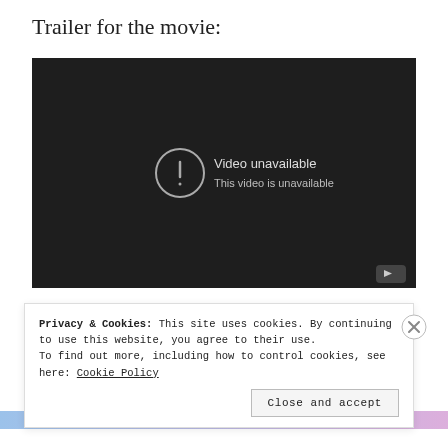Trailer for the movie:
[Figure (screenshot): Embedded video player showing 'Video unavailable / This video is unavailable' message on a dark background, with a YouTube logo in the bottom right corner.]
Privacy & Cookies: This site uses cookies. By continuing to use this website, you agree to their use.
To find out more, including how to control cookies, see here: Cookie Policy
Close and accept